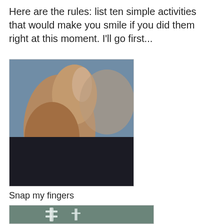Here are the rules: list ten simple activities that would make you smile if you did them right at this moment. I'll go first...
[Figure (photo): Close-up photo of a person's hand with fingers in a snapping position, face blurred in background, wearing dark clothing, blue background]
Snap my fingers
[Figure (photo): Partial photo of what appears to be a glass or metallic laboratory/mechanical instrument on a teal/green background]